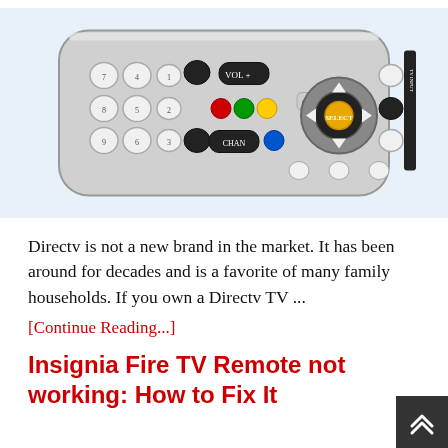[Figure (photo): Photo of a DirecTV universal remote control, silver and black, with colored buttons (red, green, yellow, blue), a yellow SELECT center button, and various navigation and numeric buttons.]
Directv is not a new brand in the market. It has been around for decades and is a favorite of many family households. If you own a Directv TV ...
[Continue Reading...]
Insignia Fire TV Remote not working: How to Fix It